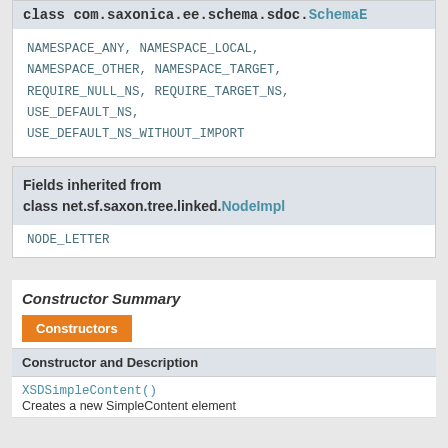class com.saxonica.ee.schema.sdoc.SchemaE...
NAMESPACE_ANY, NAMESPACE_LOCAL, NAMESPACE_OTHER, NAMESPACE_TARGET, REQUIRE_NULL_NS, REQUIRE_TARGET_NS, USE_DEFAULT_NS, USE_DEFAULT_NS_WITHOUT_IMPORT
Fields inherited from class net.sf.saxon.tree.linked.NodeImpl
NODE_LETTER
Constructor Summary
| Constructors | Constructor and Description |
| --- | --- |
| XSDSimpleContent() | Creates a new SimpleContent element |
Creates a new SimpleContent element